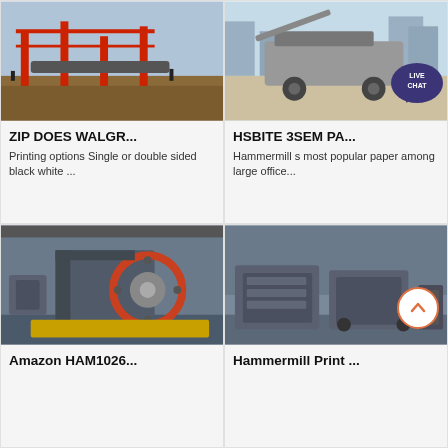[Figure (photo): Industrial mining or quarrying machinery with red crane structures and conveyor belts on a dirt site]
ZIP DOES WALGR...
Printing options Single or double sided black white ...
[Figure (photo): Mobile crushing machine on a construction site with city buildings in background]
HSBITE 3SEM PA...
Hammermill s most popular paper among large office...
[Figure (photo): Large industrial jaw crusher machine in a factory setting]
Amazon HAM1026...
[Figure (photo): Industrial hammermills or shredder machines in a warehouse]
Hammermill Print ...